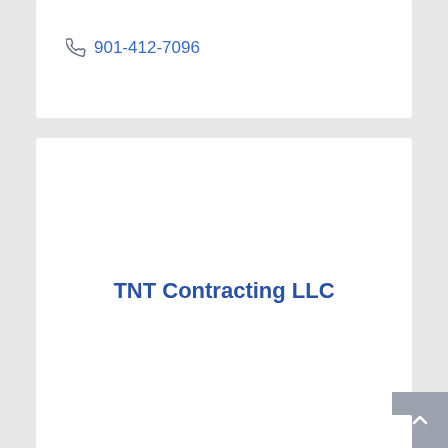901-412-7096
TNT Contracting LLC
580 N Walker Ln, Dyersburg, TN 38024
731-589-0332